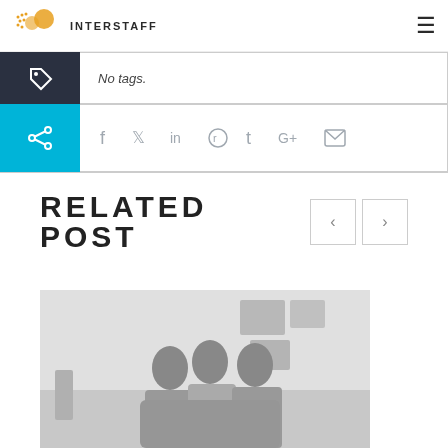INTERSTAFF
No tags.
[Figure (other): Share icons row: Facebook, Twitter, LinkedIn, Reddit, Tumblr, Google+, Email]
RELATED POST
[Figure (photo): Black and white photo of three women posing together indoors]